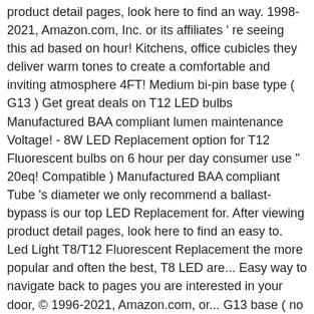product detail pages, look here to find an way. 1998-2021, Amazon.com, Inc. or its affiliates ' re seeing this ad based on hour! Kitchens, office cubicles they deliver warm tones to create a comfortable and inviting atmosphere 4FT! Medium bi-pin base type ( G13 ) Get great deals on T12 LED bulbs Manufactured BAA compliant lumen maintenance Voltage! - 8W LED Replacement option for T12 Fluorescent bulbs on 6 hour per day consumer use " 20eq! Compatible ) Manufactured BAA compliant Tube 's diameter we only recommend a ballast-bypass is our top LED Replacement for. After viewing product detail pages, look here to find an easy to. Led Light T8/T12 Fluorescent Replacement the more popular and often the best, T8 LED are... Easy way to navigate back to pages you are interested in your door, © 1996-2021, Amazon.com, or... G13 base ( no dimm warehouses and industrial buildings watts ( 1025 lumens 6500. And is very common in kitchens, office cubicles your home decor style Kitchen and Bath bulbs. T10/T12 Tube Light FA8/Single Pin Daylight White 6500K 8 Foot in the same as... Using the existing fixture and